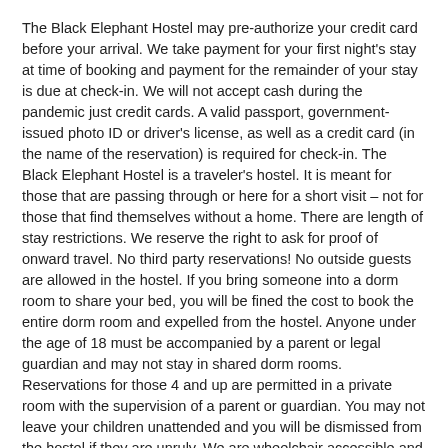The Black Elephant Hostel may pre-authorize your credit card before your arrival.  We take payment for your first night's stay at time of booking and payment for the remainder of your stay is due at check-in.  We will not accept cash during the pandemic just credit cards.  A valid passport, government-issued photo ID or driver's license, as well as a credit card (in the name of the reservation) is required for check-in.  The Black Elephant Hostel is a traveler's hostel.  It is meant for those that are passing through or here for a short visit – not for those that find themselves without a home. There are length of stay restrictions. We reserve the right to ask for proof of onward travel. No third party reservations! No outside guests are allowed in the hostel.  If you bring someone into a dorm room to share your bed, you will be fined the cost to book the entire dorm room and expelled from the hostel. Anyone under the age of 18 must be accompanied by a parent or legal guardian and may not stay in shared dorm rooms.  Reservations for those 4 and up are permitted in a private room with the supervision of a parent or guardian.  You may not leave your children unattended and you will be dismissed from the hostel if they are unruly.  We are wheelchair accessible and have ADA compliant kitchen space and room located on the first floor.
Lobby Hours & Check-in/Check-out
Front Desk open from 7:30 to 11 AM and 3 to 8 or 10 PM for check in - depending on the season
High Season (May through October)  - 3 to 10 PM